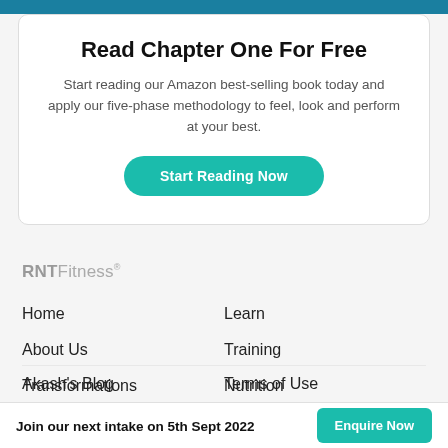Read Chapter One For Free
Start reading our Amazon best-selling book today and apply our five-phase methodology to feel, look and perform at your best.
Start Reading Now
RNTFitness®
Home
Learn
About Us
Training
Transformations
Nutrition
Join our next intake on 5th Sept 2022
Enquire Now
Akash's Blog
Terms of Use